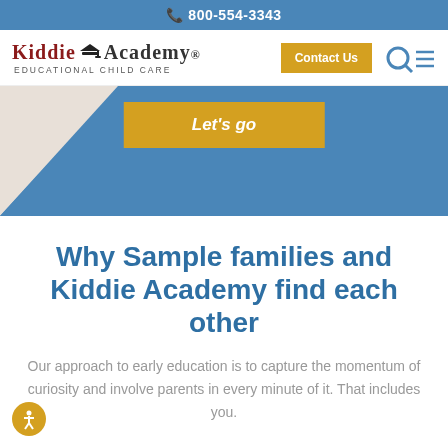📞 800-554-3343
[Figure (logo): Kiddie Academy Educational Child Care logo with graduation cap icon, Contact Us button, search and menu icons]
[Figure (illustration): Blue diagonal banner shape with a yellow 'Let's go' button partially visible at the top]
Why Sample families and Kiddie Academy find each other
Our approach to early education is to capture the momentum of curiosity and involve parents in every minute of it. That includes you.